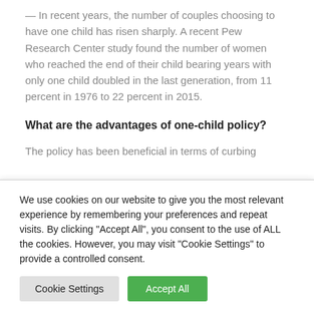— In recent years, the number of couples choosing to have one child has risen sharply. A recent Pew Research Center study found the number of women who reached the end of their child bearing years with only one child doubled in the last generation, from 11 percent in 1976 to 22 percent in 2015.
What are the advantages of one-child policy?
The policy has been beneficial in terms of curbing
We use cookies on our website to give you the most relevant experience by remembering your preferences and repeat visits. By clicking "Accept All", you consent to the use of ALL the cookies. However, you may visit "Cookie Settings" to provide a controlled consent.